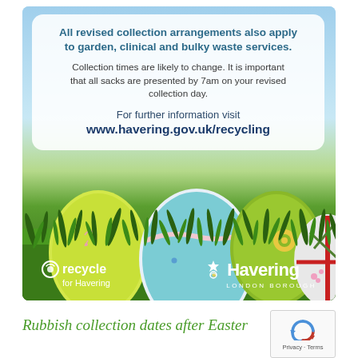[Figure (illustration): Government recycling notice with Easter egg illustration. Shows a white rounded box with text about revised collection arrangements and website URL, overlaid on a sky-blue gradient background with decorative Easter eggs (yellow, teal, green, white with red ribbons) in grass. Bottom logos show 'Recycle for Havering' and 'Havering London Borough'.]
Rubbish collection dates after Easter